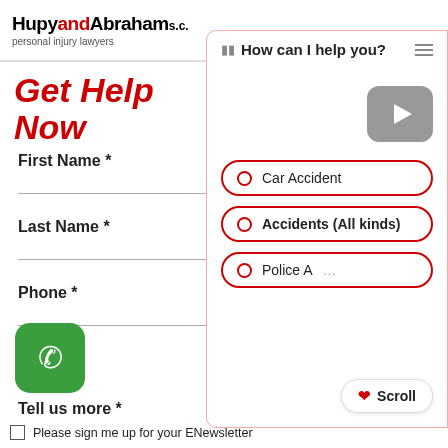HupyandAbraham s.c. personal injury lawyers
Get Help Now
First Name *
Last Name *
Phone *
Tell us more *
How can I help you?
Car Accident
Accidents (All kinds)
Police A...
Please sign me up for your ENewsletter